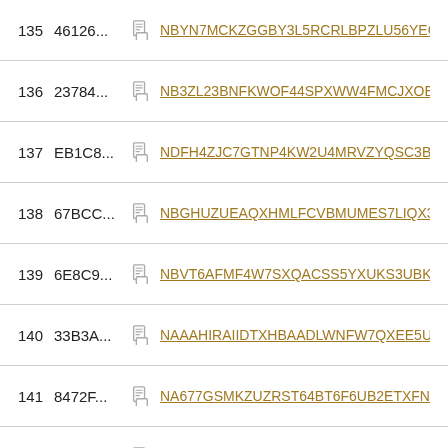135  46126...  NBYN7MCKZGGBY3L5RCRLBPZLU56YEGUT
136  23784...  NB3ZL23BNFKWOF44SPXWW4FMCJXOE6MU
137  EB1C8...  NDFH4ZJC7GTNP4KW2U4MRVZYQSC3BGKC
138  67BCC...  NBGHUZUEAQXHMLFCVBMUMES7LIQX3GLV
139  6E8C9...  NBVT6AFMF4W7SXQACSS5YXUKS3UBKEXY
140  33B3A...  NAAAHIRAIIDTXHBAADLWNFW7QXEE5UUMC
141  8472F...  NA677GSMKZUZRST64BT6F6UB2ETXFNV3V
142  5D87A...  NC6WOQLMZKNKY22RSFLCSNFHXNVOT2M
143  5C01E...  NDXCEINOBIMU5KUM3GBWQ7ZTTKZLWUY2